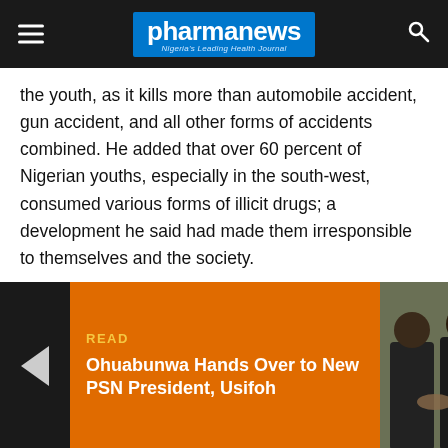pharmanews — Nigeria's Leading Health Journal
the youth, as it kills more than automobile accident, gun accident, and all other forms of accidents combined. He added that over 60 percent of Nigerian youths, especially in the south-west, consumed various forms of illicit drugs; a development he said had made them irresponsible to themselves and the society.
[Figure (other): Promotional read box with orange background, left arrow navigation, 'READ' label in yellow, article title 'Ohuabunwa Hands Over to New PSN President, Usifoh' in white bold text, and a photo of two men shaking hands with a pharmaceutical logo/badge visible in the background.]
O[partially obscured] ...nd national vice president, IMAN, noted that some of the factors that predispose so many youths to drug abuse and addiction include: peer